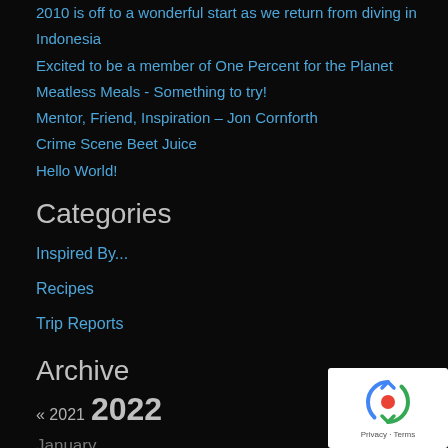2010 is off to a wonderful start as we return from diving in Indonesia
Excited to be a member of One Percent for the Planet
Meatless Meals - Something to try!
Mentor, Friend, Inspiration – Jon Cornforth
Crime Scene Beet Juice
Hello World!
Categories
Inspired By...
Recipes
Trip Reports
Archive
« 2021  2022
January
February
March
April
May